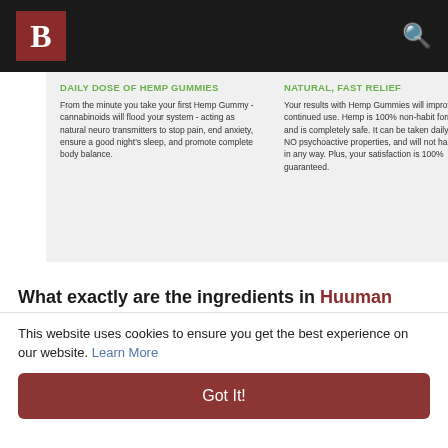B [logo]
DAILY DOSE OF HEMP GUMMIES
From the minute you take your first Hemp Gummy - cannabinoids will flood your system - acting as natural neuro transmitters to stop pain, end anxiety, ensure a good night's sleep, and promote complete body balance.
NATURAL, FAST RELIEF
Your results with Hemp Gummies will improve with continued use. Hemp is 100% non-habit forming and is completely safe. It can be taken daily, has NO psychoactive properties, and will not harm you in any way. Plus, your satisfaction is 100% guaranteed.
What exactly are the ingredients in Huuman CBD Gummies?
Huuman CBD gummies   are made with 100% pure cannabis extracts. This CBD gummy product also contains extracts of herbs, plants, and other natural
This website uses cookies to ensure you get the best experience on our website. Learn More
Got It!